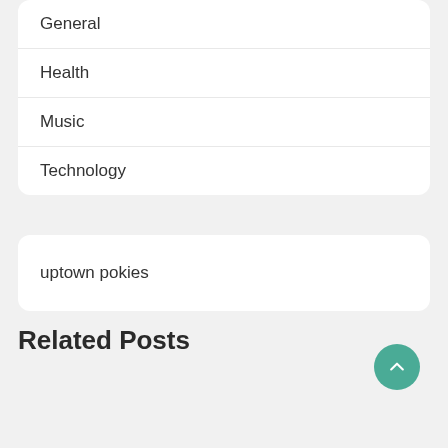General
Health
Music
Technology
uptown pokies
Related Posts